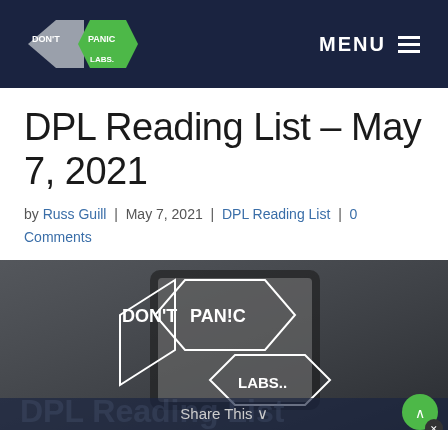DON'T PANIC LABS  MENU
DPL Reading List – May 7, 2021
by Russ Guill | May 7, 2021 | DPL Reading List | 0 Comments
[Figure (photo): Don't Panic Labs logo overlaid on a photo of a hand holding a smartphone, with 'DPL Reading List' watermark text and a 'Share This' bar at the bottom]